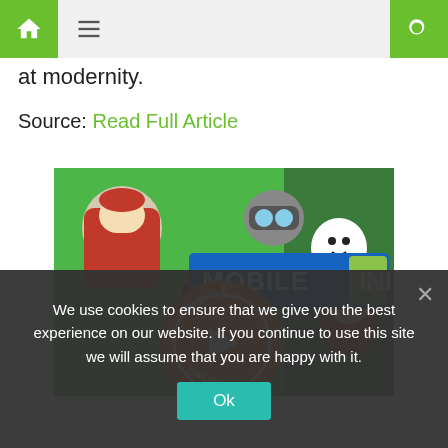[navigation bar with home icon, menu, and search]
at modernity.
Source: Read Full Article
[Figure (screenshot): MobileIni banner showing game characters, MOBILE INI logo, and a FREE PLAY ONLINE orange button with play icon]
We use cookies to ensure that we give you the best experience on our website. If you continue to use this site we will assume that you are happy with it.